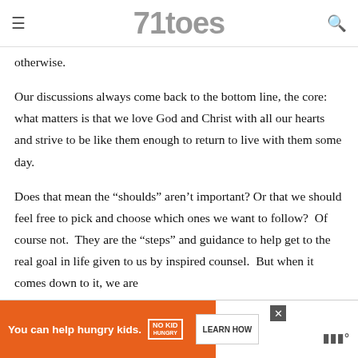71toes
otherwise.
Our discussions always come back to the bottom line, the core:  what matters is that we love God and Christ with all our hearts and strive to be like them enough to return to live with them some day.
Does that mean the “shoulds” aren’t important? Or that we should feel free to pick and choose which ones we want to follow?  Of course not.  They are the “steps” and guidance to help get to the real goal in life given to us by inspired counsel.  But when it comes down to it, we are all… dif… …d to
[Figure (screenshot): Advertisement banner: orange background with 'You can help hungry kids.' text, No Kid Hungry logo, and LEARN HOW button. Close (X) button visible. Right side shows a partially visible logo.]